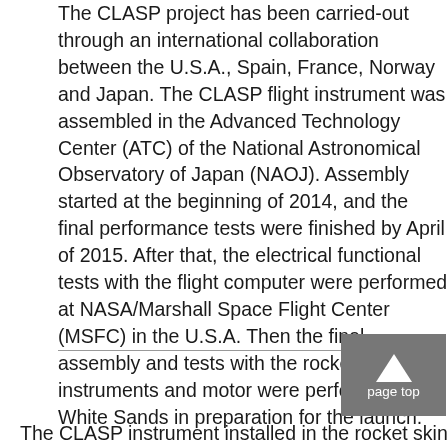The CLASP project has been carried-out through an international collaboration between the U.S.A., Spain, France, Norway and Japan. The CLASP flight instrument was assembled in the Advanced Technology Center (ATC) of the National Astronomical Observatory of Japan (NAOJ). Assembly started at the beginning of 2014, and the final performance tests were finished by April of 2015. After that, the electrical functional tests with the flight computer were performed at NASA/Marshall Space Flight Center (MSFC) in the U.S.A. Then the final assembly and tests with the rocket instruments and motor were performed at White Sands in preparation for the launch.
[Figure (other): Page top button with upward arrow chevron and text 'page top' on grey background]
The CLASP instrument installed in the rocket skin is... instrument consists of the telescope and the spectr...